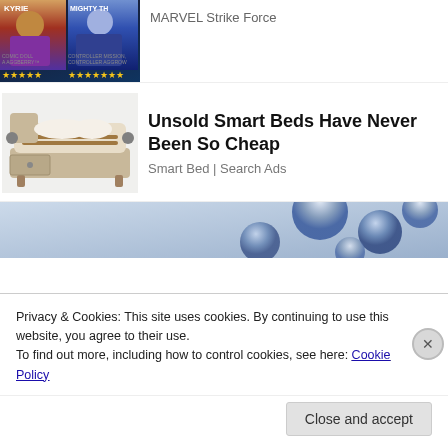[Figure (screenshot): Partial MARVEL Strike Force game advertisement showing two heroes (KYRIE and MIGHTY TH-) with star ratings, dark background]
MARVEL Strike Force
[Figure (photo): Smart bed product photo showing a beige/tan adjustable smart bed with built-in speakers and features]
Unsold Smart Beds Have Never Been So Cheap
Smart Bed | Search Ads
[Figure (photo): Close-up photo of shiny metallic ball bearings or spherical objects on a light blue background]
Privacy & Cookies: This site uses cookies. By continuing to use this website, you agree to their use.
To find out more, including how to control cookies, see here: Cookie Policy
Close and accept